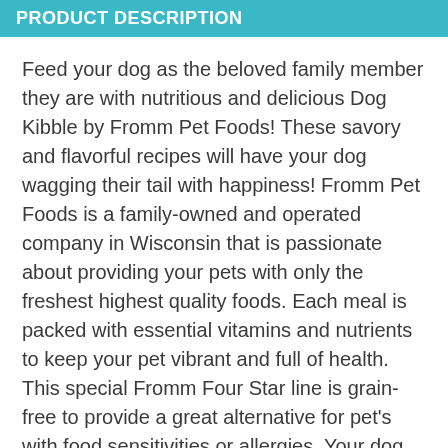PRODUCT DESCRIPTION
Feed your dog as the beloved family member they are with nutritious and delicious Dog Kibble by Fromm Pet Foods! These savory and flavorful recipes will have your dog wagging their tail with happiness! Fromm Pet Foods is a family-owned and operated company in Wisconsin that is passionate about providing your pets with only the freshest highest quality foods. Each meal is packed with essential vitamins and nutrients to keep your pet vibrant and full of health. This special Fromm Four Star line is grain-free to provide a great alternative for pet's with food sensitivities or allergies. Your dog will love all the savory flavors